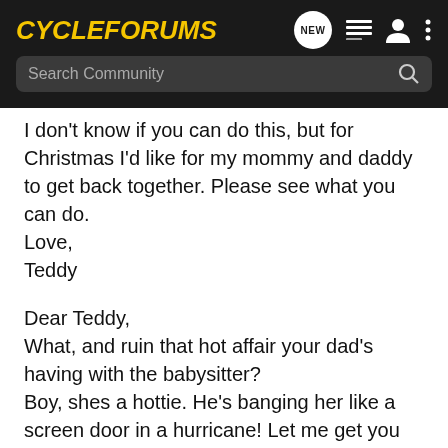CycleForums
I don't know if you can do this, but for Christmas I'd like for my mommy and daddy to get back together. Please see what you can do.
Love,
Teddy
Dear Teddy,
What, and ruin that hot affair your dad's having with the babysitter?
Boy, shes a hottie. He's banging her like a screen door in a hurricane! Let me get you some LEGOS instead.
Santa
Dear Santa,
I want a new bike, playstation, a train, and some G.I. Joes, a drum,